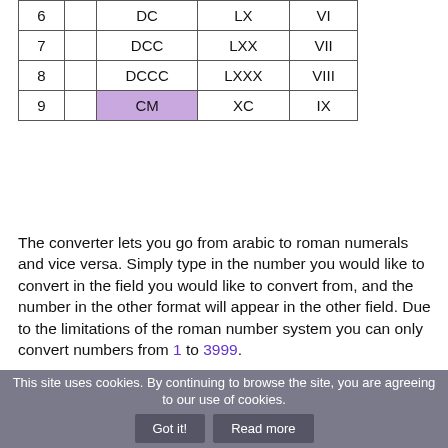|  |  | Hundreds | Tens | Ones |
| --- | --- | --- | --- | --- |
| 6 |  | DC | LX | VI |
| 7 |  | DCC | LXX | VII |
| 8 |  | DCCC | LXXX | VIII |
| 9 |  | CM | XC | IX |
The converter lets you go from arabic to roman numerals and vice versa. Simply type in the number you would like to convert in the field you would like to convert from, and the number in the other format will appear in the other field. Due to the limitations of the roman number system you can only convert numbers from 1 to 3999.
To easily convert between roman and arabic numerals you can use the table above. The key is to handle one arabic digit at a time, and translate it to the right roman number, where zeroes become empty. Go ahead and use the converter and observe how the table shows the solution in realtime!
This site uses cookies. By continuing to browse the site, you are agreeing to our use of cookies. Got it! Read more